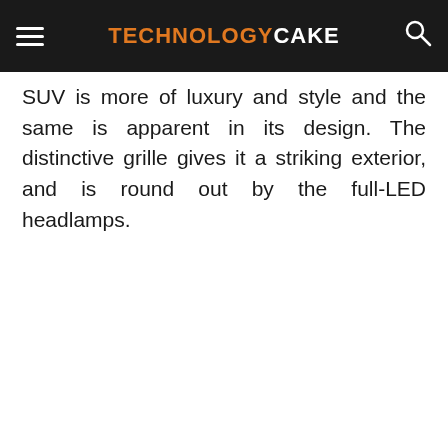TECHNOLOGYCAKE
SUV is more of luxury and style and the same is apparent in its design. The distinctive grille gives it a striking exterior, and is round out by the full-LED headlamps.